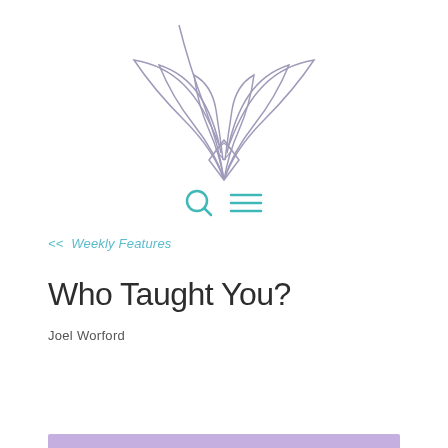[Figure (logo): Abstract floral/leaf line art logo in muted lavender/purple color, resembling stylized petals or leaves fanning upward]
[Figure (infographic): Two teal/turquoise icons: a search/magnifying glass icon and a hamburger menu icon]
<< Weekly Features
Who Taught You?
Joel Worford